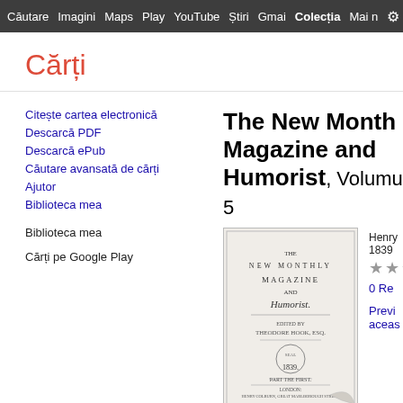Căutare Imagini Maps Play YouTube Știri Gmail Colectia Mai multe
Cărți
Citește cartea electronică
Descarcă PDF
Descarcă ePub
Căutare avansată de cărți
Ajutor
Biblioteca mea
Biblioteca mea
Cărți pe Google Play
The New Monthly Magazine and Humorist, Volumul 5
[Figure (photo): Cover page of The New Monthly Magazine and Humorist, 1839, published in London by Henry Colburn. Shows title page with text: THE NEW MONTHLY MAGAZINE AND Humorist. EDITED BY THEODORE HOOK, ESQ. 1839. PART THE FIRST. LONDON: HENRY COLBURN, GREAT MARLBOROUGH STREET.]
Henry
1839
0 Recenzii
Previzualizare această